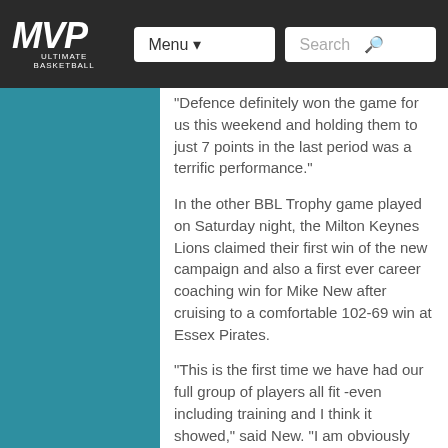MVP ULTIMATE BASKETBALL — Menu | Search
“Defence definitely won the game for us this weekend and holding them to just 7 points in the last period was a terrific performance.”
In the other BBL Trophy game played on Saturday night, the Milton Keynes Lions claimed their first win of the new campaign and also a first ever career coaching win for Mike New after cruising to a comfortable 102-69 win at Essex Pirates.
“This is the first time we have had our full group of players all fit -even including training and I think it showed,” said New. “I am obviously pleased with how we performed while we also have to give credit to Essex who played hard.”
Glasgow Rocks are up and running in the BBL Championship with a 99-79 win over Leicester